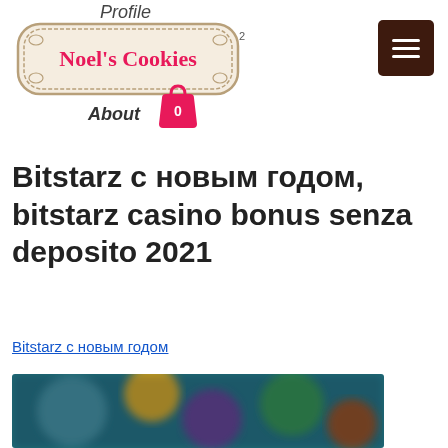Profile
[Figure (logo): Noel's Cookies logo badge with decorative border, pink bold text on cream background]
[Figure (other): Dark brown hamburger menu button with three white horizontal lines]
About
[Figure (other): Pink shopping bag icon with number 0 inside]
Bitstarz с новым годом, bitstarz casino bonus senza deposito 2021
Bitstarz с новым годом
[Figure (photo): Blurred screenshot of a gaming/casino website interface with dark teal and colorful elements]